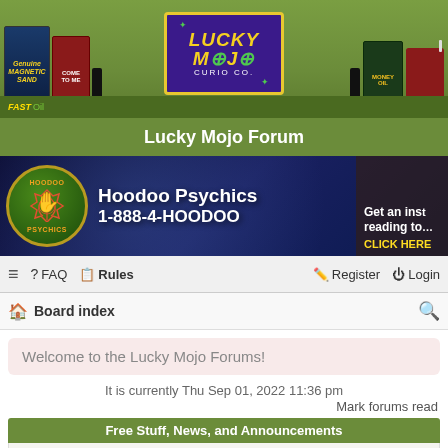[Figure (illustration): Lucky Mojo Curio Co. website header banner with product images (Magnetic Sand, Come To Me oil, Lucky Mojo logo, Money Oil, red mojo bag) on a green gradient background]
Lucky Mojo Forum
[Figure (illustration): Hoodoo Psychics advertisement banner showing circular logo with hand graphic, text 'Hoodoo Psychics 1-888-4-HOODOO', and 'Get an instant reading today CLICK HERE' on dark blue background]
≡  FAQ  Rules   Register  Login
Board index
Welcome to the Lucky Mojo Forums!
It is currently Thu Sep 01, 2022 11:36 pm
Mark forums read
Free Stuff, News, and Announcements
Free Psychic Readings -- Sundays on the LMCCo Radio Show